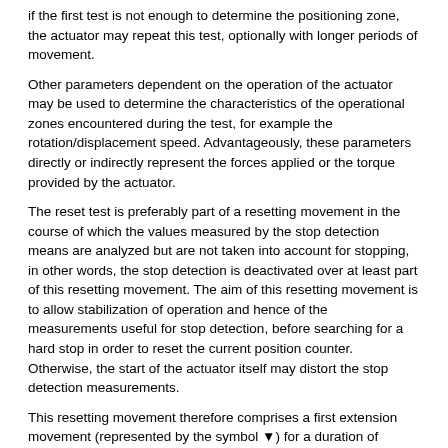if the first test is not enough to determine the positioning zone, the actuator may repeat this test, optionally with longer periods of movement.
Other parameters dependent on the operation of the actuator may be used to determine the characteristics of the operational zones encountered during the test, for example the rotation/displacement speed. Advantageously, these parameters directly or indirectly represent the forces applied or the torque provided by the actuator.
The reset test is preferably part of a resetting movement in the course of which the values measured by the stop detection means are analyzed but are not taken into account for stopping, in other words, the stop detection is deactivated over at least part of this resetting movement. The aim of this resetting movement is to allow stabilization of operation and hence of the measurements useful for stop detection, before searching for a hard stop in order to reset the current position counter. Otherwise, the start of the actuator itself may distort the stop detection measurements.
This resetting movement therefore comprises a first extension movement (represented by the symbol ▼) for a duration of around 2 seconds, followed by stopping (represented by the symbol •) and a retraction movement (represented by the symbol ▲) for at least 2 seconds. The resetting test preferably comprises data analysis of the back and_forth travel of the awning, with the exception of measurements close to the kickturn position 7P... of the awning.